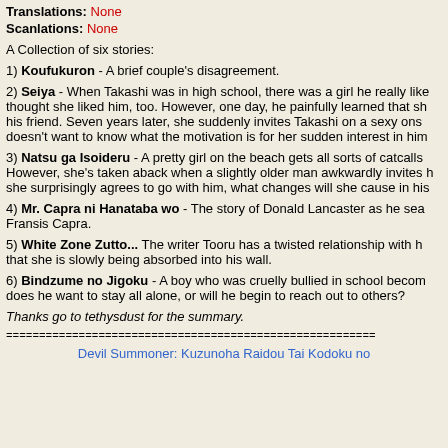Translations: None
Scanlations: None
A Collection of six stories:
1) Koufukuron - A brief couple's disagreement.
2) Seiya - When Takashi was in high school, there was a girl he really like thought she liked him, too. However, one day, he painfully learned that she his friend. Seven years later, she suddenly invites Takashi on a sexy onse doesn't want to know what the motivation is for her sudden interest in him.
3) Natsu ga Isoideru - A pretty girl on the beach gets all sorts of catcalls. However, she's taken aback when a slightly older man awkwardly invites h she surprisingly agrees to go with him, what changes will she cause in his
4) Mr. Capra ni Hanataba wo - The story of Donald Lancaster as he sear Fransis Capra.
5) White Zone Zutto... The writer Tooru has a twisted relationship with his that she is slowly being absorbed into his wall.
6) Bindzume no Jigoku - A boy who was cruelly bullied in school become does he want to stay all alone, or will he begin to reach out to others?
Thanks go to tethysdust for the summary.
========================================================
Devil Summoner: Kuzunoha Raidou Tai Kodoku no